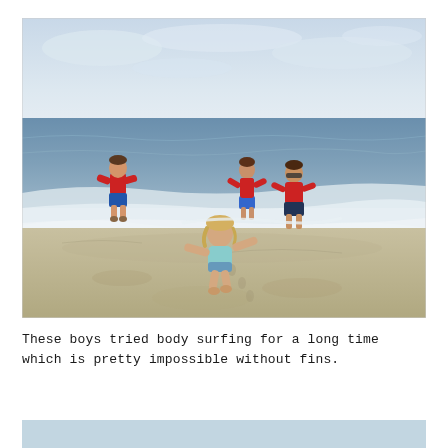[Figure (photo): Children playing at the beach in the surf. Four children visible — three boys in red shirts and blue shorts running in the shallow waves, and a toddler girl in a light blue swimsuit in the foreground. Sandy beach with ocean waves and overcast sky in the background.]
These boys tried body surfing for a long time which is pretty impossible without fins.
[Figure (photo): Partial view of another beach photo (cropped at bottom of page), showing a light blue/sky-toned image.]